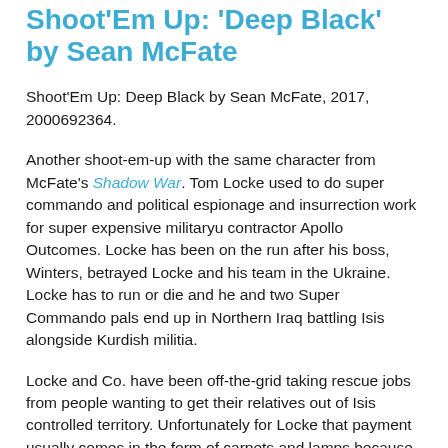Shoot'Em Up: 'Deep Black' by Sean McFate
Shoot'Em Up: Deep Black by Sean McFate, 2017, 2000692364.
Another shoot-em-up with the same character from McFate's Shadow War. Tom Locke used to do super commando and political espionage and insurrection work for super expensive militaryu contractor Apollo Outcomes. Locke has been on the run after his boss, Winters, betrayed Locke and his team in the Ukraine. Locke has to run or die and he and two Super Commando pals end up in Northern Iraq battling Isis alongside Kurdish militia.
Locke and Co. have been off-the-grid taking rescue jobs from people wanting to get their relatives out of Isis controlled territory. Unfortunately for Locke that payment usually comes in the form of carpets and lamps because all the local wealth has been lost.
After hiding out in Iraq for a few months Locke and Co. come